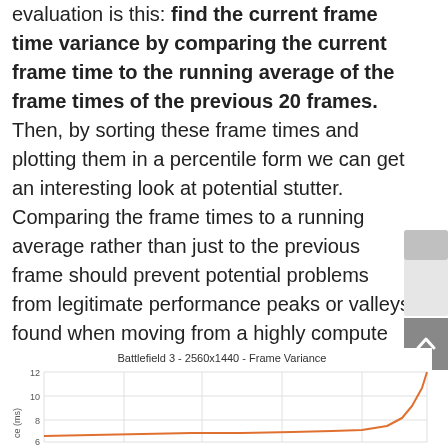evaluation is this: find the current frame time variance by comparing the current frame time to the running average of the frame times of the previous 20 frames. Then, by sorting these frame times and plotting them in a percentile form we can get an interesting look at potential stutter. Comparing the frame times to a running average rather than just to the previous frame should prevent potential problems from legitimate performance peaks or valleys found when moving from a highly compute intensive scene to a lower one.
[Figure (continuous-plot): Line chart partially visible at bottom of page showing frame variance data for Battlefield 3 at 2560x1440 resolution. Y-axis shows values from approximately 6 to 12. An orange line rises sharply on the right side.]